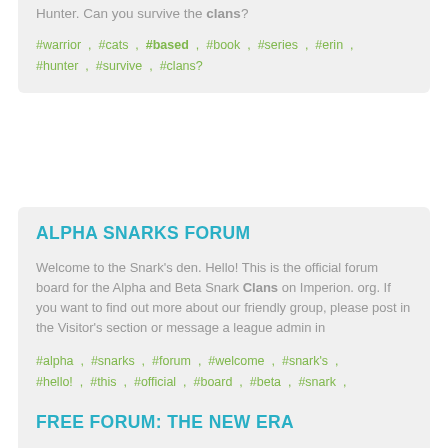Hunter. Can you survive the clans?
#warrior , #cats , #based , #book , #series , #erin , #hunter , #survive , #clans?
ALPHA SNARKS FORUM
Welcome to the Snark's den. Hello! This is the official forum board for the Alpha and Beta Snark Clans on Imperion. org. If you want to find out more about our friendly group, please post in the Visitor's section or message a league admin in
#alpha , #snarks , #forum , #welcome , #snark's , #hello! , #this , #official , #board , #beta , #snark , #clans , #imperion , #want , #find , #more , #about , #friendly , #group , #please , #post
FREE FORUM: THE NEW ERA